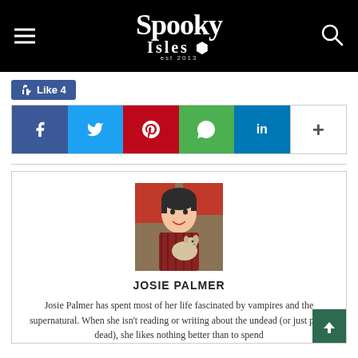Spooky Isles
[Figure (infographic): Social sharing bar with Like 4 button and social media icons: Facebook, Twitter, Pinterest, WhatsApp, LinkedIn, and more (+)]
[Figure (photo): Author photo of Josie Palmer, a woman with short dark hair holding a small dog, seated on a red couch]
JOSIE PALMER
Josie Palmer has spent most of her life fascinated by vampires and the supernatural. When she isn't reading or writing about the undead (or just plain dead), she likes nothing better than to spend